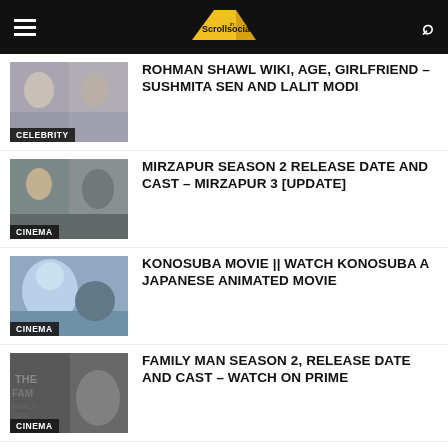Scrollsocial.in
[Figure (photo): Thumbnail image with CELEBRITY label – Rohman Shawl article]
ROHMAN SHAWL WIKI, AGE, GIRLFRIEND – SUSHMITA SEN AND LALIT MODI
[Figure (photo): Thumbnail image with CINEMA label – Mirzapur Season 2 article]
MIRZAPUR SEASON 2 RELEASE DATE AND CAST – MIRZAPUR 3 [UPDATE]
[Figure (photo): Thumbnail image with CINEMA label – Konosuba movie article]
KONOSUBA MOVIE || WATCH KONOSUBA A JAPANESE ANIMATED MOVIE
[Figure (photo): Thumbnail image with CINEMA label – Family Man Season 2 article]
FAMILY MAN SEASON 2, RELEASE DATE AND CAST – WATCH ON PRIME